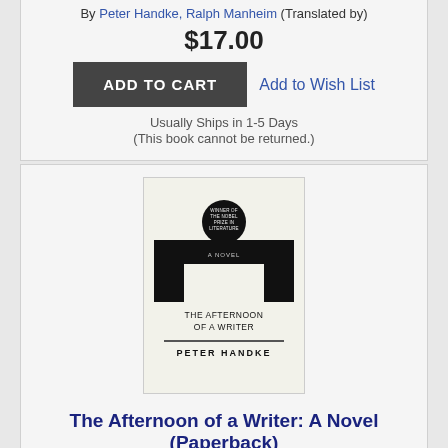By Peter Handke, Ralph Manheim (Translated by)
$17.00
Add to Wish List
ADD TO CART
Usually Ships in 1-5 Days
(This book cannot be returned.)
[Figure (photo): Book cover of The Afternoon of a Writer by Peter Handke. Light beige background with bold black geometric shapes and a black circle at top.]
The Afternoon of a Writer: A Novel (Paperback)
By Peter Handke, Ralph Manheim (Translated by)
$15.00
Add to Wish List
ADD TO CART
Usually Ships in 1-5 Days
(This book cannot be returned.)